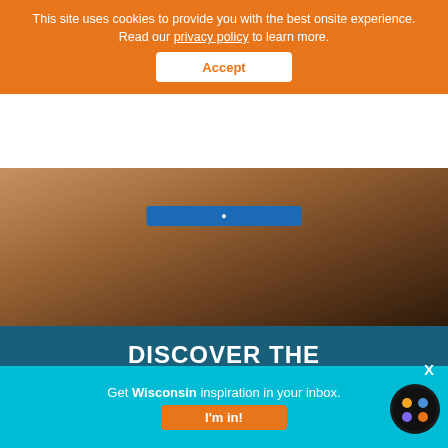This site uses cookies to provide you with the best onsite experience. Read our privacy policy to learn more.
Accept
[Figure (photo): Two people sitting together outdoors, warm lighting, travel theme]
DISCOVER THE UNEXPECTED
#TravelWI
[Figure (illustration): Social media icons: Facebook, Twitter, Pinterest, YouTube, Instagram]
Get Wisconsin inspiration in your inbox.
I'm in!